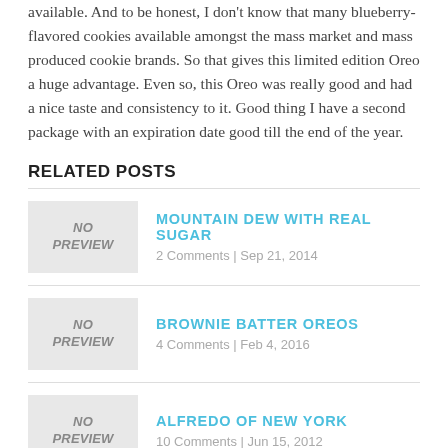available. And to be honest, I don't know that many blueberry-flavored cookies available amongst the mass market and mass produced cookie brands. So that gives this limited edition Oreo a huge advantage. Even so, this Oreo was really good and had a nice taste and consistency to it. Good thing I have a second package with an expiration date good till the end of the year.
RELATED POSTS
MOUNTAIN DEW WITH REAL SUGAR | 2 Comments | Sep 21, 2014
BROWNIE BATTER OREOS | 4 Comments | Feb 4, 2016
ALFREDO OF NEW YORK | 10 Comments | Jun 15, 2012